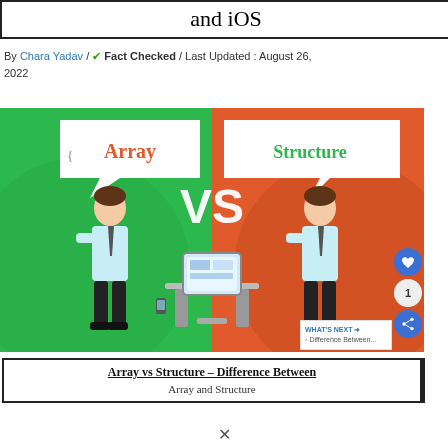and iOS
By Chara Yadav / ✔ Fact Checked / Last Updated : August 26, 2022
[Figure (illustration): Illustration showing two businessmen facing each other. The left figure stands on a green background with a speech bubble saying 'Array', the right figure stands on an orange/red background with a speech bubble saying 'Structure'. Between them is a large VS text and a computer desk. Social interaction buttons (like, count, share) appear on the right edge.]
Array vs Structure – Difference Between Array and Structure